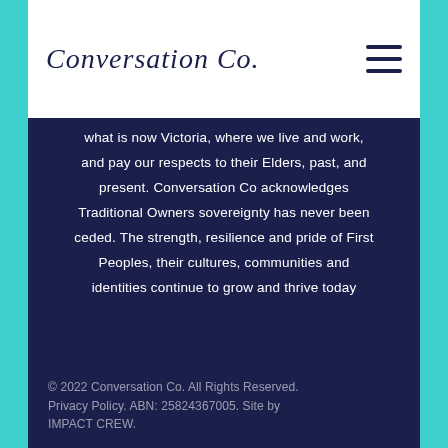Conversation Co.
what is now Victoria, where we live and work, and pay our respects to their Elders, past, and present. Conversation Co acknowledges Traditional Owners sovereignty has never been ceded. The strength, resilience and pride of First Peoples, their cultures, communities and identities continue to grow and thrive today despite the impact of colonisation and ongoing experiences of racism.
© 2022 Conversation Co. All Rights Reserved. Privacy Policy. ABN: 25824367005. Site by IMPACT CREW.